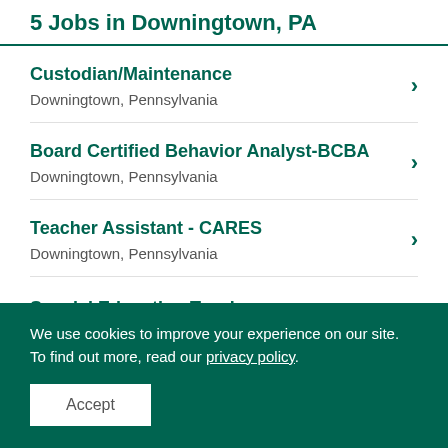5 Jobs in Downingtown, PA
Custodian/Maintenance
Downingtown, Pennsylvania
Board Certified Behavior Analyst-BCBA
Downingtown, Pennsylvania
Teacher Assistant - CARES
Downingtown, Pennsylvania
Special Education Teacher
We use cookies to improve your experience on our site. To find out more, read our privacy policy.
Accept